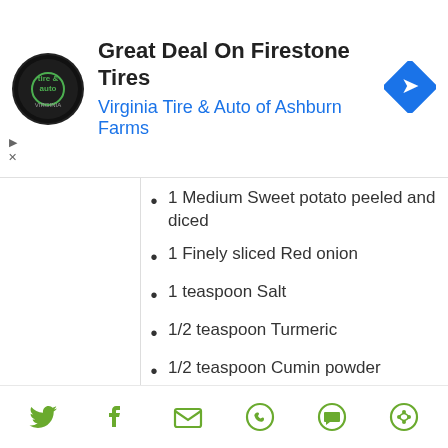[Figure (other): Advertisement banner: Virginia Tire & Auto logo (circular, black background), title 'Great Deal On Firestone Tires', subtitle 'Virginia Tire & Auto of Ashburn Farms' in blue, navigation arrow icon in blue diamond shape on right]
1 Medium Sweet potato peeled and diced
1 Finely sliced Red onion
1 teaspoon Salt
1/2 teaspoon Turmeric
1/2 teaspoon Cumin powder
1/2 teaspoon Black Pepper
1/2 teaspoon Chilli Powder
1 tablespoon Olive Oil
1 tablespoon Balsamic Vinergar
1 tablespoon Honey
2 cloves Finely chopped Garlic
[Figure (other): Social sharing footer bar with icons: Twitter (bird), Facebook (f), Email (envelope), WhatsApp (phone), SMS (speech bubble), and another share icon — all in olive/green color]